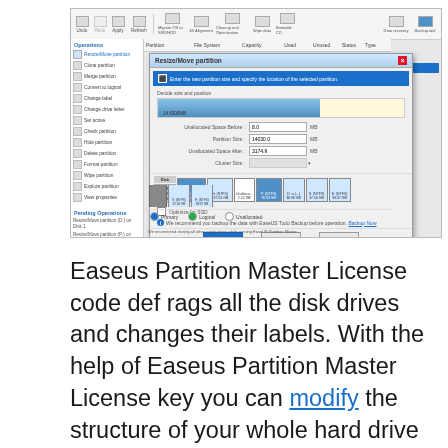[Figure (screenshot): Screenshot of EaseUS Partition Master software showing the Resize/Move partition dialog box. The dialog has fields for Unallocated Space Before (8MB), Partition Size (14030.0 MB), Unallocated Space After (3174.9 MB), and Cluster Size. A partition bar visualization is shown at top. Below the dialog are disk partition segments labeled C:(NTFS) 108.01GB, H:(NTFS) 137.01GB, Unalloca... 2.22GB, P:(NTFS) 76.93GB, D:w( 38.96GB, S:(NTFS) 37.56GB, E:(NTFS) 93.07GB. Bottom legend shows Primary, Logical, Unallocated options.]
Easeus Partition Master License code def rags all the disk drives and changes their labels. With the help of Easeus Partition Master License key you can modify the structure of your whole hard drive